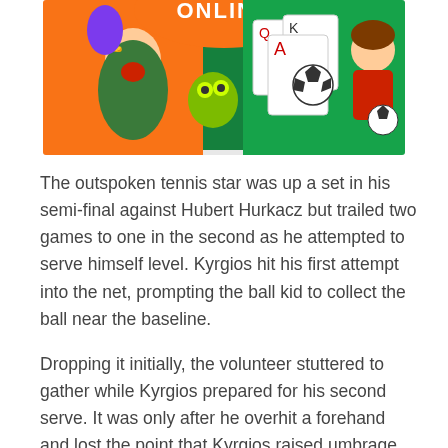[Figure (illustration): Colorful cartoon/game promotional image showing animated characters including a muscular screaming man, a green creature, playing cards (Q, K, A), a soccer ball, and a small cartoon boy with a soccer ball, set against an orange and green background with 'ONLINE' text visible at the top.]
The outspoken tennis star was up a set in his semi-final against Hubert Hurkacz but trailed two games to one in the second as he attempted to serve himself level. Kyrgios hit his first attempt into the net, prompting the ball kid to collect the ball near the baseline.
Dropping it initially, the volunteer stuttered to gather while Kyrgios prepared for his second serve. It was only after he overhit a forehand and lost the point that Kyrgios raised umbrage with the ball kid's gait.